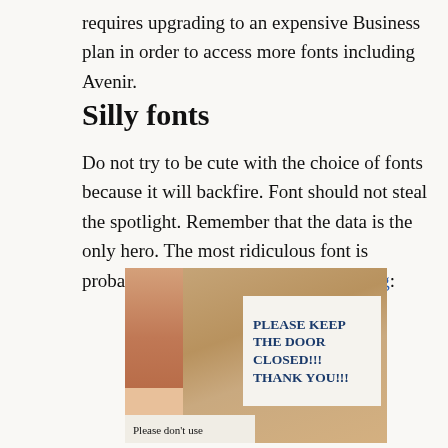requires upgrading to an expensive Business plan in order to access more fonts including Avenir.
Silly fonts
Do not try to be cute with the choice of fonts because it will backfire. Font should not steal the spotlight. Remember that the data is the only hero. The most ridiculous font is probably Comic Sans. Here is a warning:
[Figure (photo): Photo of a wooden door with two signs. The upper sign on white paper reads 'PLEASE KEEP THE DOOR CLOSED!!! THANK YOU!!!' in Comic Sans font. The lower sign partially visible reads 'Please don't use'.]